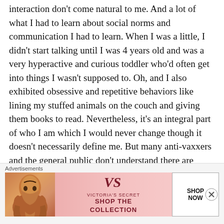interaction don't come natural to me. And a lot of what I had to learn about social norms and communication I had to learn. When I was a little, I didn't start talking until I was 4 years old and was a very hyperactive and curious toddler who'd often get into things I wasn't supposed to. Oh, and I also exhibited obsessive and repetitive behaviors like lining my stuffed animals on the couch and giving them books to read. Nevertheless, it's an integral part of who I am which I would never change though it doesn't necessarily define me. But many anti-vaxxers and the general public don't understand there are different recognized versions of autism along a spectrum so no two cases
[Figure (other): Victoria's Secret advertisement banner with a model photo on the left, Victoria's Secret logo and 'SHOP THE COLLECTION' text in center, and a 'SHOP NOW' button on the right. Pink gradient background.]